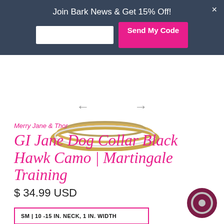Join Bark News & Get 15% Off!
[Figure (photo): Partial product image showing dog collar rings in gold/silver tones at top of page]
[Figure (other): Left and right navigation arrows for image carousel]
Merry Jane & Thor
GI Jane Dog Collar Black Hawk Camo | Martingale Training
$ 34.99 USD
SM | 10 -15 IN. NECK, 1 IN. WIDTH